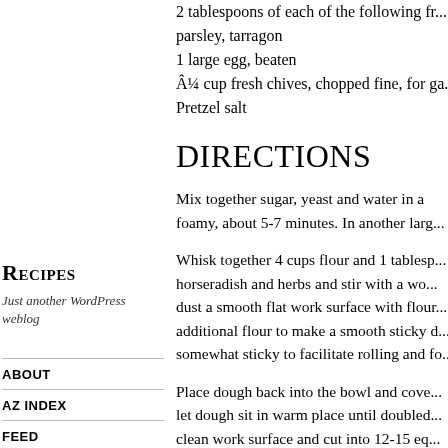2 tablespoons of each of the following fr...
parsley, tarragon
1 large egg, beaten
¼ cup fresh chives, chopped fine, for ga...
Pretzel salt
DIRECTIONS
Mix together sugar, yeast and water in a... foamy, about 5-7 minutes. In another larg...
Whisk together 4 cups flour and 1 tablesp... horseradish and herbs and stir with a wo... dust a smooth flat work surface with flour... additional flour to make a smooth sticky d... somewhat sticky to facilitate rolling and fo...
Place dough back into the bowl and cove... let dough sit in warm place until doubled... clean work surface and cut into 12-15 eq... and forth on a clean dry work surface int... hands, lightly dust them with flour. Twist d...
Recipes
Just another WordPress weblog
ABOUT
AZ INDEX
FEED